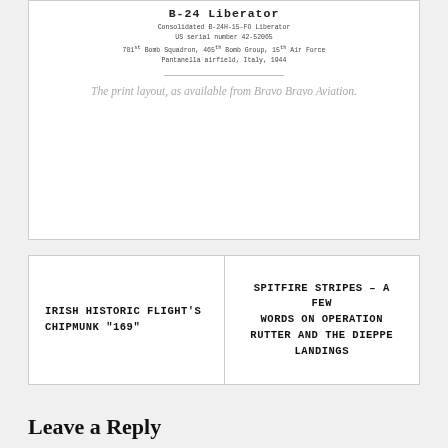[Figure (illustration): A print layout card for the B-24 Liberator aircraft. Shows title 'B-24 Liberator' in bold monospace, with subtitle lines: 'Consolidated B-24H-15-FO Liberator', 'US serial number 42-52065', '781st Bomb Squadron, 465th Bomb Group, 15th Air Force', 'Pantanella airfield, Italy, 1944'. A horizontal divider line follows.]
The print layout, as available from Bravo Bravo Aviation.
IRISH HISTORIC FLIGHT'S CHIPMUNK “169”
SPITFIRE STRIPES – A FEW WORDS ON OPERATION RUTTER AND THE DIEPPE LANDINGS
Leave a Reply